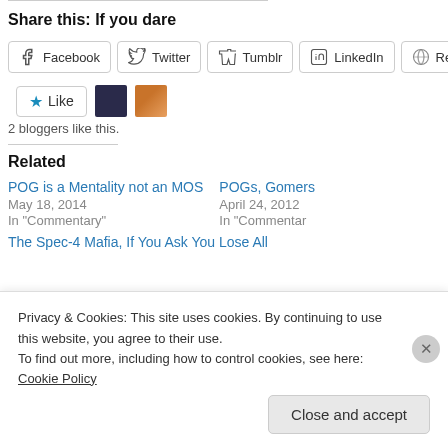Share this: If you dare
Facebook  Twitter  Tumblr  LinkedIn  Reddit
Like  2 bloggers like this.
Related
POG is a Mentality not an MOS
May 18, 2014
In "Commentary"
POGs, Gomers
April 24, 2012
In "Commentary"
The Spec-4 Mafia, If You Ask You Lose All
Privacy & Cookies: This site uses cookies. By continuing to use this website, you agree to their use.
To find out more, including how to control cookies, see here: Cookie Policy
Close and accept